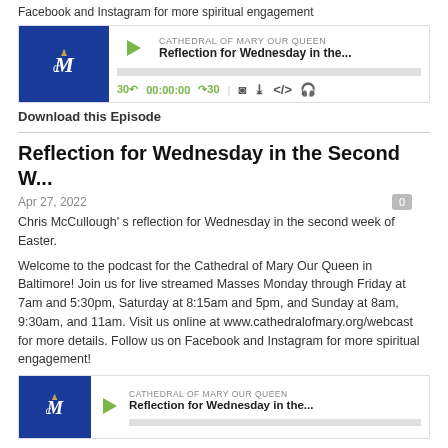Facebook and Instagram for more spiritual engagement
[Figure (screenshot): Podcast player widget for Cathedral of Mary Our Queen showing 'Reflection for Wednesday in the...' with play button, progress bar, and controls showing 30s skip, 00:00:00 time, forward 30s, and icons for RSS, download, embed, and headphones]
Download this Episode
Reflection for Wednesday in the Second W...
Apr 27, 2022
Chris McCullough' s reflection for Wednesday in the second week of Easter.
Welcome to the podcast for the Cathedral of Mary Our Queen in Baltimore! Join us for live streamed Masses Monday through Friday at 7am and 5:30pm, Saturday at 8:15am and 5pm, and Sunday at 8am, 9:30am, and 11am. Visit us online at www.cathedralofmary.org/webcast for more details. Follow us on Facebook and Instagram for more spiritual engagement!
[Figure (screenshot): Second podcast player widget for Cathedral of Mary Our Queen showing 'Reflection for Wednesday in the...' with play button and partial progress bar visible]